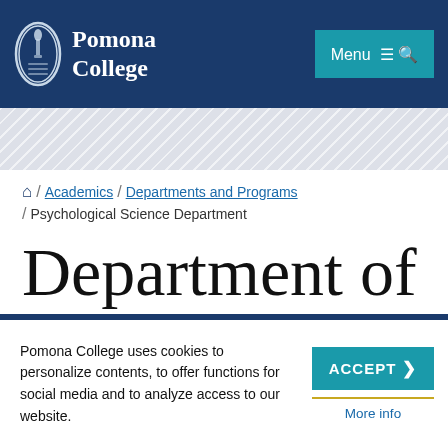Pomona College — Menu
[Figure (logo): Pomona College shield logo with torch, beside text reading 'Pomona College']
Menu
Home / Academics / Departments and Programs / Psychological Science Department
Department of Psychological...
Pomona College uses cookies to personalize contents, to offer functions for social media and to analyze access to our website.
ACCEPT
More info